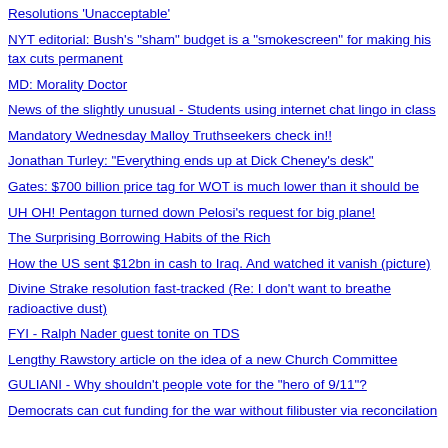Resolutions 'Unacceptable'
NYT editorial: Bush's "sham" budget is a "smokescreen" for making his tax cuts permanent
MD: Morality Doctor
News of the slightly unusual - Students using internet chat lingo in class
Mandatory Wednesday Malloy Truthseekers check in!!
Jonathan Turley: "Everything ends up at Dick Cheney's desk"
Gates: $700 billion price tag for WOT is much lower than it should be
UH OH! Pentagon turned down Pelosi's request for big plane!
The Surprising Borrowing Habits of the Rich
How the US sent $12bn in cash to Iraq. And watched it vanish (picture)
Divine Strake resolution fast-tracked (Re: I don't want to breathe radioactive dust)
FYI - Ralph Nader guest tonite on TDS
Lengthy Rawstory article on the idea of a new Church Committee
GULIANI - Why shouldn't people vote for the "hero of 9/11"?
Democrats can cut funding for the war without filibuster via reconcilation